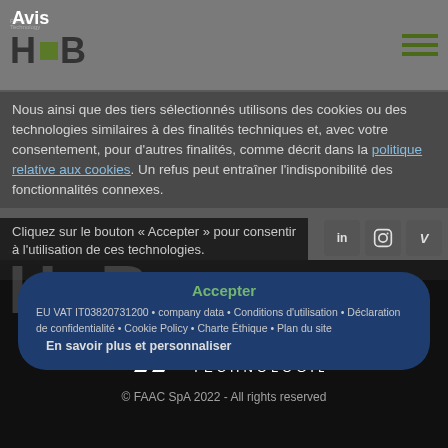Avis
Nous ainsi que des tiers sélectionnés utilisons des cookies ou des technologies similaires à des finalités techniques et, avec votre consentement, pour d'autres finalités, comme décrit dans la politique relative aux cookies. Un refus peut entraîner l'indisponibilité des fonctionnalités connexes.
Cliquez sur le bouton « Accepter » pour consentir à l'utilisation de ces technologies.
Accepter
EU VAT IT03820731200 • company data • Conditions d'utilisation • Déclaration de confidentialité • Cookie Policy • Charte Éthique • Plan du site
En savoir plus et personnaliser
HUB Parking Technology - a brand of FAAC Technologies
© FAAC SpA 2022 - All rights reserved